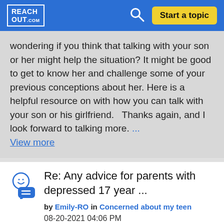REACH OUT.com — Start a topic
wondering if you think that talking with your son or her might help the situation? It might be good to get to know her and challenge some of your previous conceptions about her. Here is a helpful resource on with how you can talk with your son or his girlfriend.   Thanks again, and I look forward to talking more. ... View more
Re: Any advice for parents with depressed 17 year ...
by Emily-RO in Concerned about my teen
08-20-2021 04:06 PM
Hi @Tek1971 Thank you for sharing this with